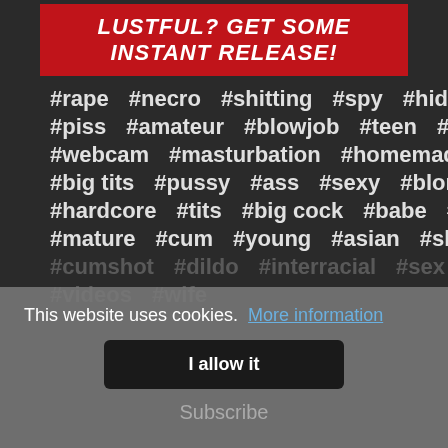LUSTFUL? GET SOME INSTANT RELEASE!
#rape  #necro  #shitting  #spy  #hidden
#piss  #amateur  #blowjob  #teen  #anal
#webcam  #masturbation  #homemade  #milf
#big tits  #pussy  #ass  #sexy  #blonde
#hardcore  #tits  #big cock  #babe  #brunette
#mature  #cum  #young  #asian  #slut
#cumshot  #dildo  #interracial  #sex  #hot
#videos  #wife
This website uses cookies.  More information
I allow it
Subscribe